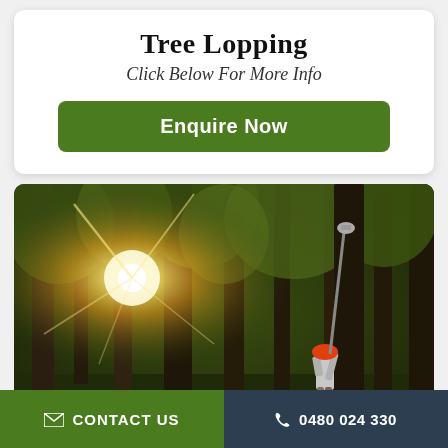Tree Lopping
Click Below For More Info
Enquire Now
[Figure (photo): A worker in an orange hard hat using a long pole saw to lop branches from tall trees in a forest, with bright sunlight flaring through the trees in the background.]
CONTACT US  |  0480 024 330